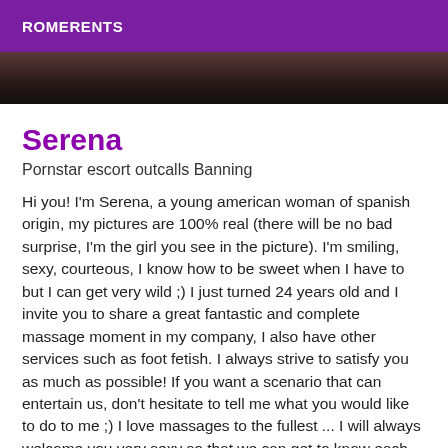ROMERENTS
[Figure (photo): Dark photo strip showing partial image at top of listing]
Serena
Pornstar escort outcalls Banning
Hi you! I'm Serena, a young american woman of spanish origin, my pictures are 100% real (there will be no bad surprise, I'm the girl you see in the picture). I'm smiling, sexy, courteous, I know how to be sweet when I have to but I can get very wild ;) I just turned 24 years old and I invite you to share a great fantastic and complete massage moment in my company, I also have other services such as foot fetish. I always strive to satisfy you as much as possible! If you want a scenario that can entertain us, don't hesitate to tell me what you would like to do to me ;) I love massages to the fullest ... I will always welcome you very sexy so that we can get to know each other and move on to the main course ... my massages are unforgettable and my company is almost